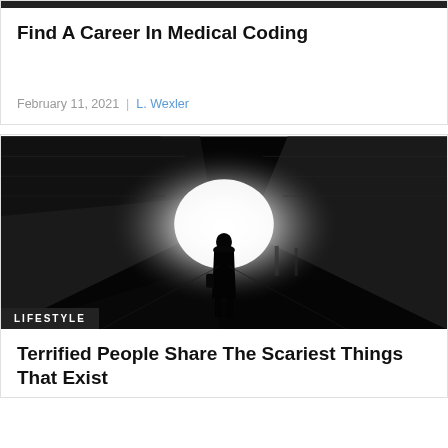Find A Career In Medical Coding
February 11, 2021 | L. Wexler
[Figure (photo): Black and white photo of a lone figure silhouetted in a dark tunnel with bright light at the end]
LIFESTYLE
Terrified People Share The Scariest Things That Exist